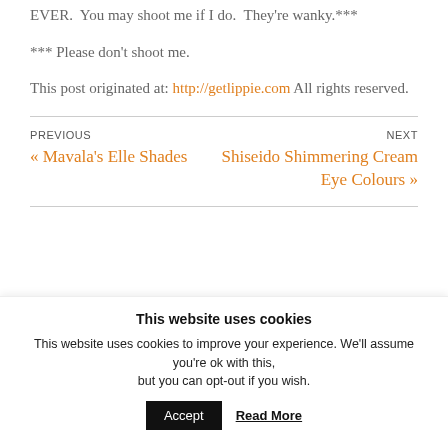EVER.  You may shoot me if I do.  They're wanky.***
*** Please don't shoot me.
This post originated at: http://getlippie.com All rights reserved.
PREVIOUS
« Mavala's Elle Shades
NEXT
Shiseido Shimmering Cream Eye Colours »
This website uses cookies
This website uses cookies to improve your experience. We'll assume you're ok with this, but you can opt-out if you wish.  Accept  Read More